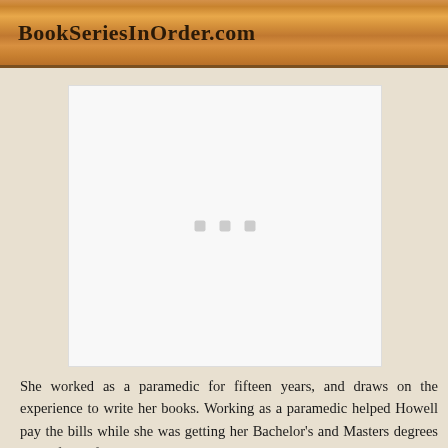BookSeriesInOrder.com
[Figure (other): White placeholder box with three light gray loading indicator squares in the center]
She worked as a paramedic for fifteen years, and draws on the experience to write her books. Working as a paramedic helped Howell pay the bills while she was getting her Bachelor's and Masters degrees in the field of creative writing.